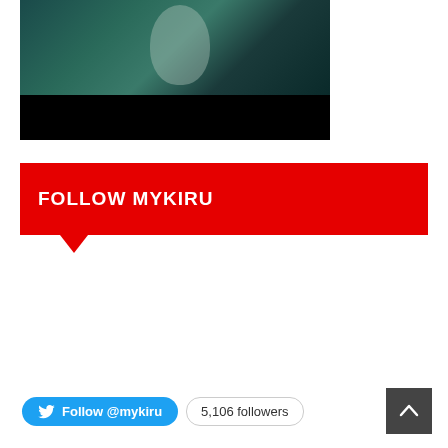[Figure (screenshot): Video thumbnail with dark teal/green top portion showing a blurred figure, and black bar at the bottom]
FOLLOW MYKIRU
Follow @mykiru   5,106 followers